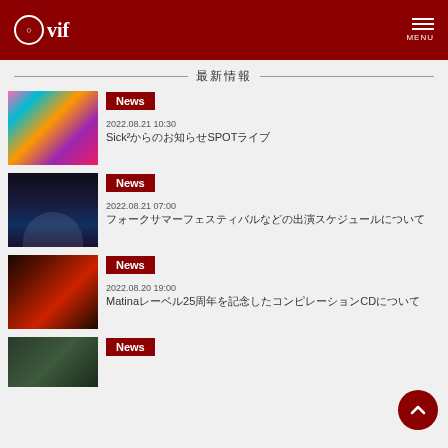vif MENU
最新情報
[Figure (photo): Colorful costume performance photo]
News
2022.08.21 10:30
Sick²からのお知らせSPOTライブ
[Figure (photo): Night outdoor concert with crowd]
News
2022.08.21 07:00
フォークサマーフェスティバルなどの出演スケジュール
[Figure (photo): Person with red hair portrait]
News
2022.08.20 19:00
Matinaレーベル25周年を記念したコンピレーションCDについて
[Figure (photo): Fourth news item thumbnail]
News